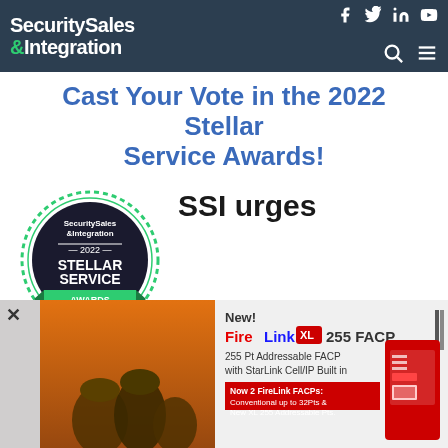Security Sales & Integration — navigation bar with social icons
Cast Your Vote in the 2022 Stellar Service Awards!
[Figure (logo): Security Sales & Integration 2022 Stellar Service Awards circular badge with green star at bottom]
SSI urges
dealers/integrators to recognize
[Figure (illustration): Advertisement: New! FireLink XL 255 FACP — 255 Pt Addressable FACP with StarLink Cell/IP Built in. Now 2 FireLink FACPs: Conventional up to 32Pts & New XL 255 Addressable Pts. Shows firefighters and red fire panel device.]